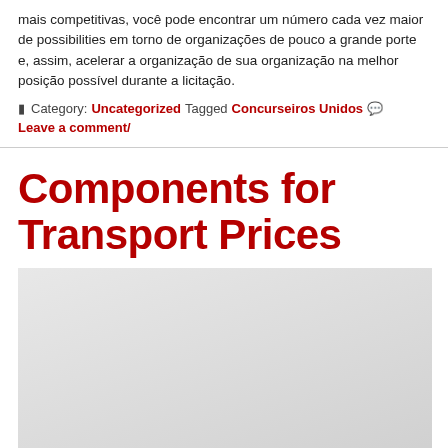mais competitivas, você pode encontrar um número cada vez maior de possibilities em torno de organizações de pouco a grande porte e, assim, acelerar a organização de sua organização na melhor posição possível durante a licitação.
Category: Uncategorized Tagged Concurseiros Unidos Leave a comment/
Components for Transport Prices
[Figure (other): Light gray placeholder image box]